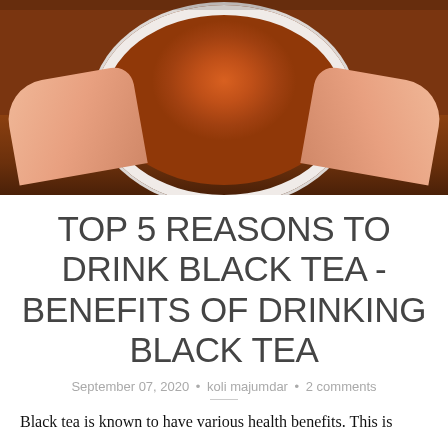[Figure (photo): Overhead view of a white cup of black/red tea held by two hands on a wooden table surface]
TOP 5 REASONS TO DRINK BLACK TEA - BENEFITS OF DRINKING BLACK TEA
September 07, 2020 • koli majumdar • 2 comments
Black tea is known to have various health benefits. This is